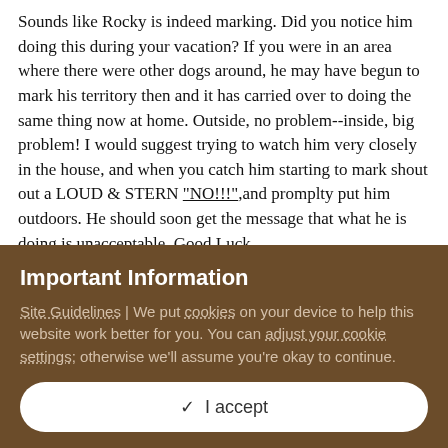Sounds like Rocky is indeed marking. Did you notice him doing this during your vacation? If you were in an area where there were other dogs around, he may have begun to mark his territory then and it has carried over to doing the same thing now at home. Outside, no problem--inside, big problem! I would suggest trying to watch him very closely in the house, and when you catch him starting to mark shout out a LOUD & STERN "NO!!!",and promplty put him outdoors. He should soon get the message that what he is doing is unacceptable. Good Luck.
+ Quote
Important Information
Site Guidelines | We put cookies on your device to help this website work better for you. You can adjust your cookie settings; otherwise we'll assume you're okay to continue.
✓ I accept